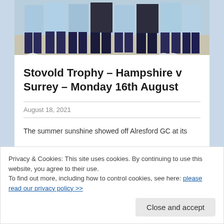[Figure (photo): Group of people standing outdoors in light blue shirts and dark shorts/leggings, lower half of bodies visible, taken at a golf club]
Stovold Trophy – Hampshire v Surrey – Monday 16th August
August 18, 2021
The summer sunshine showed off Alresford GC at its
Privacy & Cookies: This site uses cookies. By continuing to use this website, you agree to their use.
To find out more, including how to control cookies, see here: please read our privacy policy >>
Close and accept